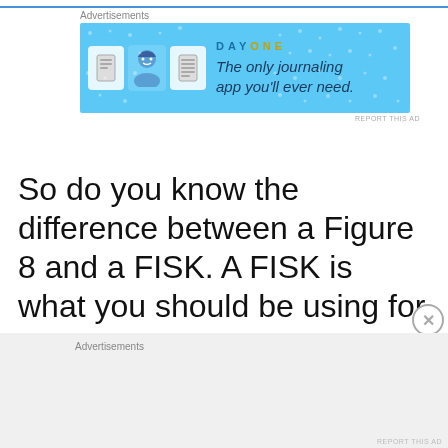[Figure (screenshot): Advertisement banner for Day One journaling app with blue background, app icons, and tagline 'The only journaling app you'll ever need.']
So do you know the difference between a Figure 8 and a FISK. A FISK is what you should be using for controlled descent. A heavy-duty FISK. If you don't know what this is,
[Figure (screenshot): Bottom advertisement banner area with gray background, 'Advertisements' label and a close button]